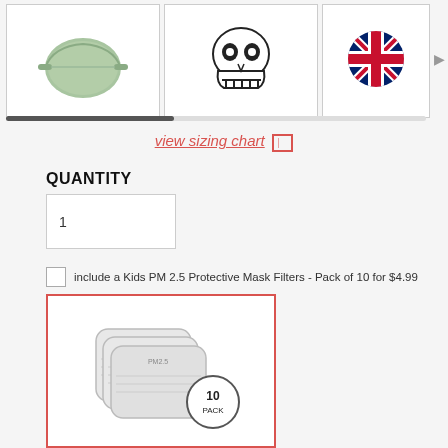[Figure (photo): Three face mask product thumbnails in a carousel: a sage green mask, a skull print mask, and a UK flag/Union Jack mask. A horizontal scrollbar is visible below.]
view sizing chart [ruler icon]
QUANTITY
1
include a Kids PM 2.5 Protective Mask Filters - Pack of 10 for $4.99
[Figure (photo): Product image of Kids PM 2.5 Protective Mask Filters - a stack of three PM2.5 filter inserts with a circular badge reading '10 PACK', displayed inside an orange/red bordered box.]